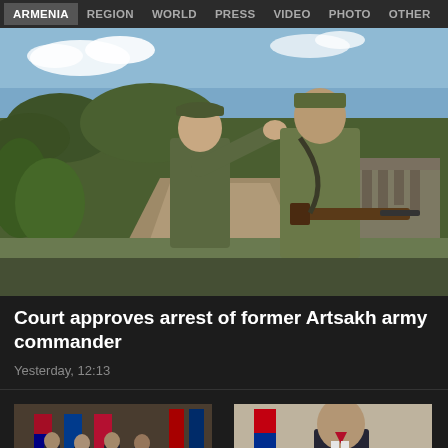ARMENIA | REGION | WORLD | PRESS | VIDEO | PHOTO | OTHER
[Figure (photo): Two soldiers in camouflage uniforms standing on a dirt road. One is pointing into the distance. The other holds a rifle. Green vegetation and stone ruins in background.]
Court approves arrest of former Artsakh army commander
Yesterday, 12:13
[Figure (photo): Group of officials standing in front of flags including Armenian and other national flags]
[Figure (photo): Man in suit standing in front of Armenian flag tricolor]